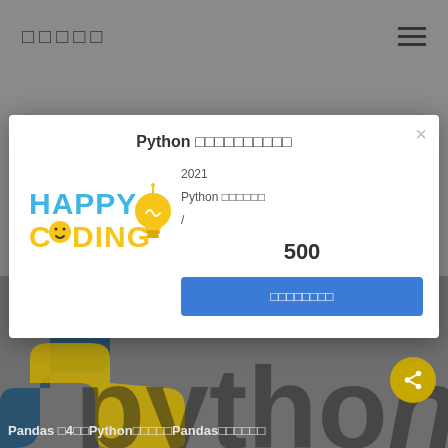□□□□□
[Figure (screenshot): Modal popup dialog on a grey website background showing Happy Coding logo on left and Python course info on right with a blue CTA button]
Python □□□□□□□□□□
2021
Python □□□□□□
/
500
□□□□□□□□
SUMO
Previous Post
Pandas □4□□Python□□□□□Pandas□□□□□□